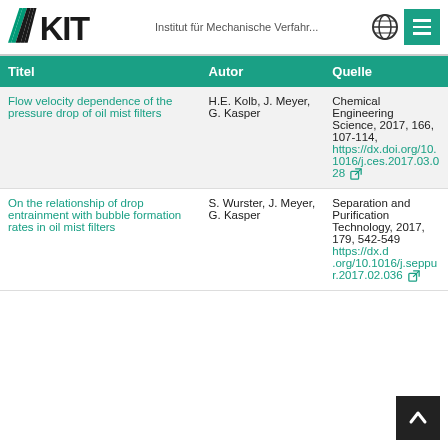KIT — Institut für Mechanische Verfahr...
| Titel | Autor | Quelle |
| --- | --- | --- |
| Flow velocity dependence of the pressure drop of oil mist filters | H.E. Kolb, J. Meyer, G. Kasper | Chemical Engineering Science, 2017, 166, 107-114, https://dx.doi.org/10.1016/j.ces.2017.03.028 |
| On the relationship of drop entrainment with bubble formation rates in oil mist filters | S. Wurster, J. Meyer, G. Kasper | Separation and Purification Technology, 2017, 179, 542-549 https://dx.d org/10.1016/j.seppur.2017.02.036 |